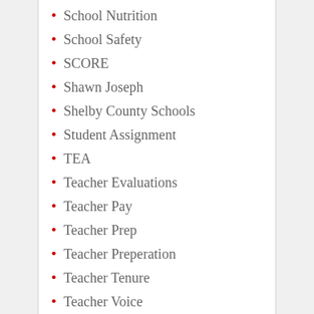School Nutrition
School Safety
SCORE
Shawn Joseph
Shelby County Schools
Student Assignment
TEA
Teacher Evaluations
Teacher Pay
Teacher Prep
Teacher Preperation
Teacher Tenure
Teacher Voice